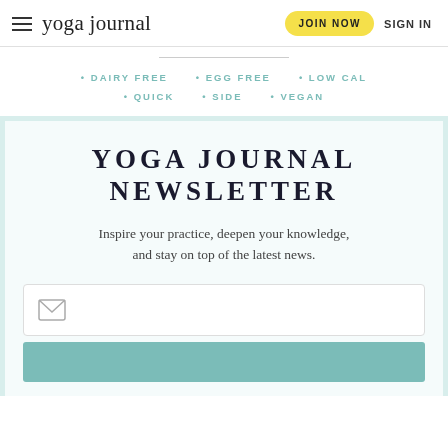yoga journal | JOIN NOW | SIGN IN
DAIRY FREE
EGG FREE
LOW CAL
QUICK
SIDE
VEGAN
YOGA JOURNAL NEWSLETTER
Inspire your practice, deepen your knowledge, and stay on top of the latest news.